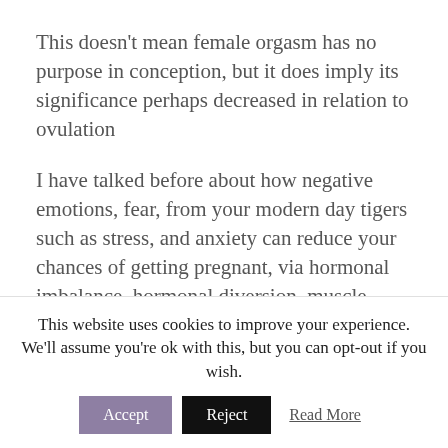This doesn't mean female orgasm has no purpose in conception, but it does imply its significance perhaps decreased in relation to ovulation
I have talked before about how negative emotions, fear, from your modern day tigers such as stress, and anxiety can reduce your chances of getting pregnant, via hormonal imbalance, hormonal diversion, muscle tension and so on, so we can see how these wonderous happy
This website uses cookies to improve your experience. We'll assume you're ok with this, but you can opt-out if you wish.